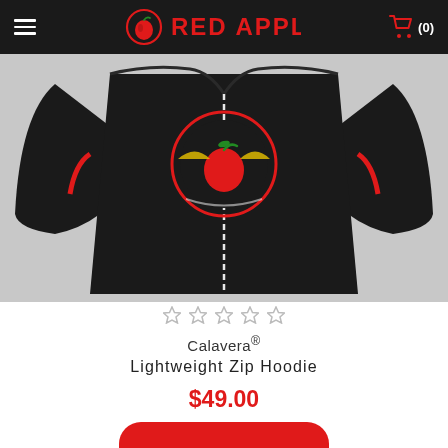Red Apple — Menu | Cart (0)
[Figure (photo): Black zip hoodie with Red Apple Calavera logo on chest, displayed flat against a light gray background.]
★★★★★ (empty star rating)
Calavera®
Lightweight Zip Hoodie
$49.00